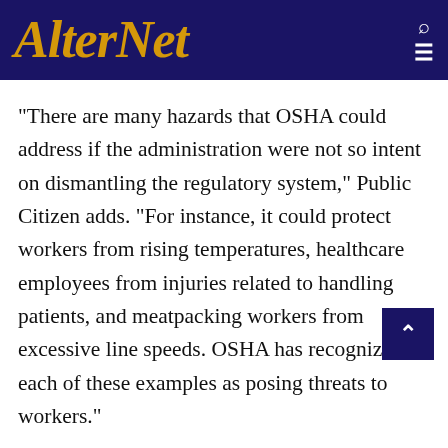AlterNet
"There are many hazards that OSHA could address if the administration were not so intent on dismantling the regulatory system," Public Citizen adds. "For instance, it could protect workers from rising temperatures, healthcare employees from injuries related to handling patients, and meatpacking workers from excessive line speeds. OSHA has recognized each of these examples as posing threats to workers."